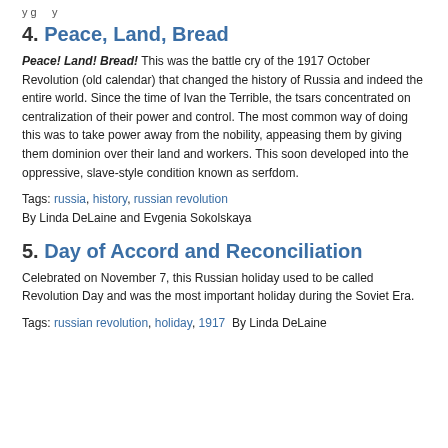y g y
4. Peace, Land, Bread
Peace! Land! Bread! This was the battle cry of the 1917 October Revolution (old calendar) that changed the history of Russia and indeed the entire world. Since the time of Ivan the Terrible, the tsars concentrated on centralization of their power and control. The most common way of doing this was to take power away from the nobility, appeasing them by giving them dominion over their land and workers. This soon developed into the oppressive, slave-style condition known as serfdom.
Tags: russia, history, russian revolution
By Linda DeLaine and Evgenia Sokolskaya
5. Day of Accord and Reconciliation
Celebrated on November 7, this Russian holiday used to be called Revolution Day and was the most important holiday during the Soviet Era.
Tags: russian revolution, holiday, 1917  By Linda DeLaine